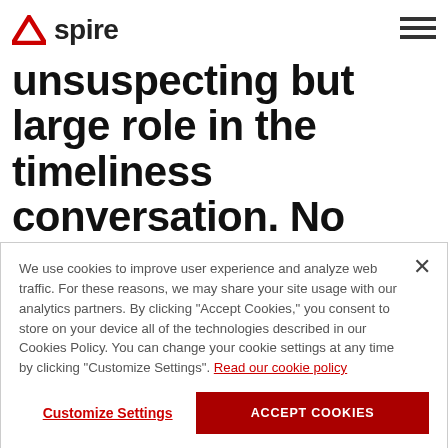Aspire
unsuspecting but large role in the timeliness conversation. No matter how hi-tech or futuristic a solution might be, a helpful person is what makes a real difference.
We use cookies to improve user experience and analyze web traffic. For these reasons, we may share your site usage with our analytics partners. By clicking "Accept Cookies," you consent to store on your device all of the technologies described in our Cookies Policy. You can change your cookie settings at any time by clicking "Customize Settings". Read our cookie policy
Customize Settings | ACCEPT COOKIES